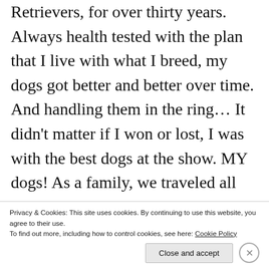Retrievers, for over thirty years. Always health tested with the plan that I live with what I breed, my dogs got better and better over time. And handling them in the ring… It didn't matter if I won or lost, I was with the best dogs at the show. MY dogs! As a family, we traveled all over the country "showing dogs". I have multi-generations of
Privacy & Cookies: This site uses cookies. By continuing to use this website, you agree to their use. To find out more, including how to control cookies, see here: Cookie Policy
Close and accept